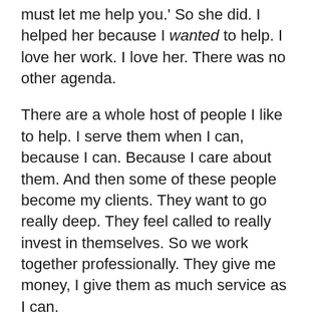must let me help you.' So she did. I helped her because I wanted to help. I love her work. I love her. There was no other agenda.
There are a whole host of people I like to help. I serve them when I can, because I can. Because I care about them. And then some of these people become my clients. They want to go really deep. They feel called to really invest in themselves. So we work together professionally. They give me money, I give them as much service as I can.